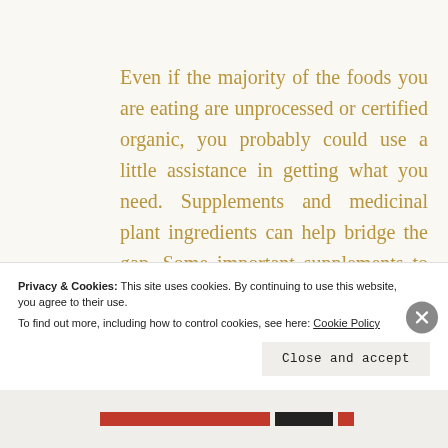Even if the majority of the foods you are eating are unprocessed or certified organic, you probably could use a little assistance in getting what you need. Supplements and medicinal plant ingredients can help bridge the gap. Some important supplements to take a look at are Omega-3 fatty acids for brain and heart health, Vitamin D to improve bone strength, mood, endocrine and
Privacy & Cookies: This site uses cookies. By continuing to use this website, you agree to their use.
To find out more, including how to control cookies, see here: Cookie Policy
Close and accept